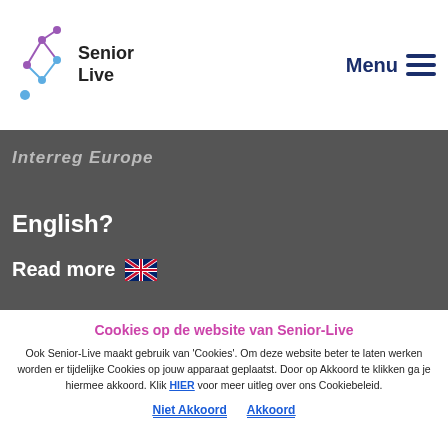[Figure (logo): Senior-Live logo with network node graphic and text 'Senior Live']
Menu ☰
Interreg Europe
English?
Read more 🇬🇧
Cookies op de website van Senior-Live
Ook Senior-Live maakt gebruik van 'Cookies'. Om deze website beter te laten werken worden er tijdelijke Cookies op jouw apparaat geplaatst. Door op Akkoord te klikken ga je hiermee akkoord. Klik HIER voor meer uitleg over ons Cookiebeleid.
Niet Akkoord    Akkoord